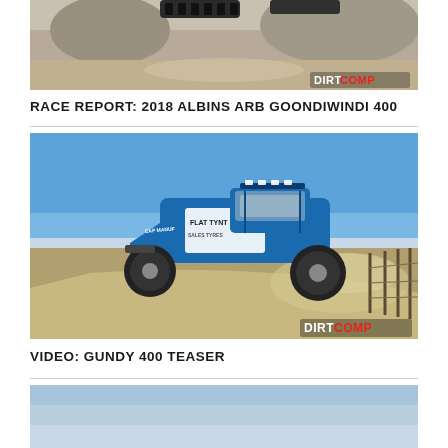[Figure (photo): Off-road vehicle partially visible from below, desert/rocky terrain background, with DirtComp logo watermark in bottom right]
RACE REPORT: 2018 ALBINS ARB GOONDIWINDI 400
[Figure (photo): Blue and white off-road trophy truck mid-air jump on dirt track, clear blue sky background, dust cloud behind vehicle, with DirtComp logo watermark in bottom right]
VIDEO: GUNDY 400 TEASER
[Figure (photo): Partial view of another article image at bottom, light blue/grey tones]